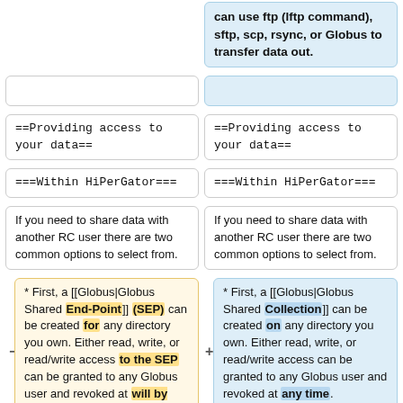can use ftp (lftp command), sftp, scp, rsync, or Globus to transfer data out.
==Providing access to your data==
==Providing access to your data==
===Within HiPerGator===
===Within HiPerGator===
If you need to share data with another RC user there are two common options to select from.
If you need to share data with another RC user there are two common options to select from.
* First, a [[Globus|Globus Shared End-Point]] (SEP) can be created for any directory you own. Either read, write, or read/write access to the SEP can be granted to any Globus user and revoked at will by you. The SEP can be used to ...
* First, a [[Globus|Globus Shared Collection]] can be created on any directory you own. Either read, write, or read/write access can be granted to any Globus user and revoked at any time.